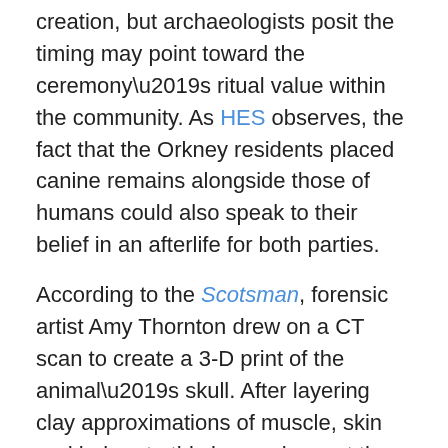creation, but archaeologists posit the timing may point toward the ceremony's ritual value within the community. As HES observes, the fact that the Orkney residents placed canine remains alongside those of humans could also speak to their belief in an afterlife for both parties.
According to the Scotsman, forensic artist Amy Thornton drew on a CT scan to create a 3-D print of the animal's skull. After layering clay approximations of muscle, skin and hair onto this base, she cast the model in silicone and added a fur coat designed to mimic that of the European grey wolf. Interestingly, Thornton notes, the process played out much as it would for a human facial reconstruction, although “there is much less existing data” detailing average tissue depth in canine versus human skulls.